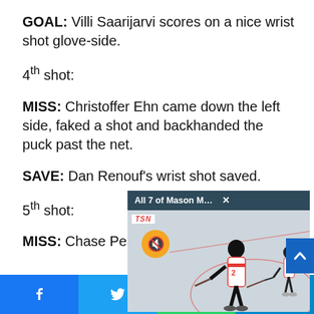GOAL: Villi Saarijarvi scores on a nice wrist shot glove-side.
4th shot:
MISS: Christoffer Ehn came down the left side, faked a shot and backhanded the puck past the net.
SAVE: Dan Renouf's wrist shot saved.
5th shot:
MISS: Chase Pearson blocker-side but we
[Figure (screenshot): Video popup overlay showing 'All 7 of Mason McTavish's Round-Robin ...' with TSN logo, mute button, and hockey player on rink background. Scroll-up button visible at right.]
Social share bar with Facebook, Twitter, WhatsApp, Telegram buttons